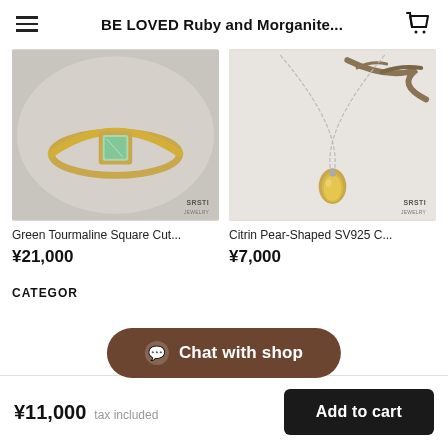BE LOVED Ruby and Morganite...
[Figure (photo): Gold ring with square-cut green tourmaline stone, SRSTI jewelry branding, on light background]
Green Tourmaline Square Cut...
¥21,000
[Figure (photo): Silver chain necklace with pear-shaped citrin pendant, SRSTI jewelry branding, on white background with branch]
Citrin Pear-Shaped SV925 C...
¥7,000
CATEGOR
Chat with shop
¥11,000  tax included
Add to cart